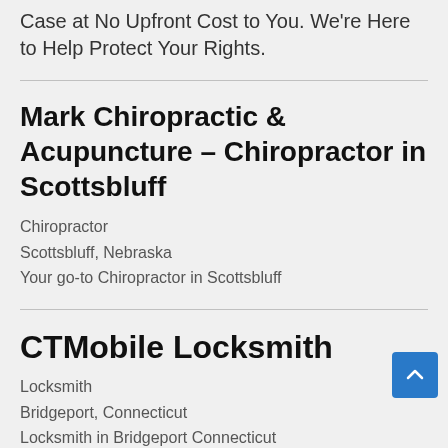Case at No Upfront Cost to You. We're Here to Help Protect Your Rights.
Mark Chiropractic & Acupuncture – Chiropractor in Scottsbluff
Chiropractor
Scottsbluff, Nebraska
Your go-to Chiropractor in Scottsbluff
CTMobile Locksmith
Locksmith
Bridgeport, Connecticut
Locksmith in Bridgeport Connecticut